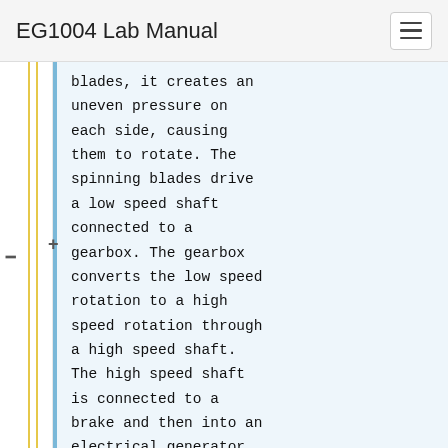EG1004 Lab Manual
blades, it creates an uneven pressure on each side, causing them to rotate. The spinning blades drive a low speed shaft connected to a gearbox. The gearbox converts the low speed rotation to a high speed rotation through a high speed shaft. The high speed shaft is connected to a brake and then into an electrical generator where mechanical energy is converted to electrical energy